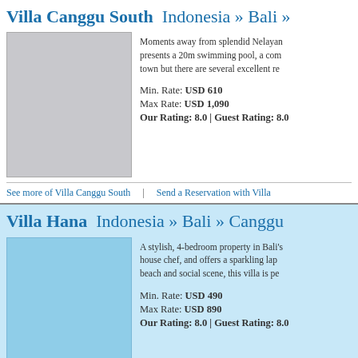Villa Canggu South  Indonesia » Bali »
Moments away from splendid Nelayan presents a 20m swimming pool, a com town but there are several excellent re
Min. Rate: USD 610
Max Rate: USD 1,090
Our Rating: 8.0 | Guest Rating: 8.0
See more of Villa Canggu South   |   Send a Reservation with Villa
Villa Hana  Indonesia » Bali » Canggu
A stylish, 4-bedroom property in Bali's house chef, and offers a sparkling lap beach and social scene, this villa is pe
Min. Rate: USD 490
Max Rate: USD 890
Our Rating: 8.0 | Guest Rating: 8.0